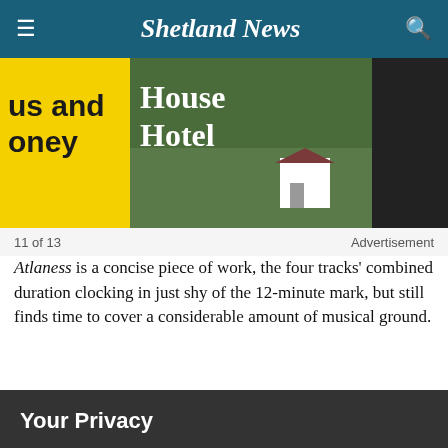Shetland News
[Figure (photo): Partial view of advertisement images: yellow background with 'us and oney' text, center image showing 'House Hotel' text over a landscape with white building, right dark image strip]
11 of 13   Advertisement
Atlaness is a concise piece of work, the four tracks' combined duration clocking in just shy of the 12-minute mark, but still finds time to cover a considerable amount of musical ground.
Your Privacy
We use cookies on our site to improve your experience.
By using our service, you agree to our Privacy Policy and Cookie Policy.
✓  I'm OK with that